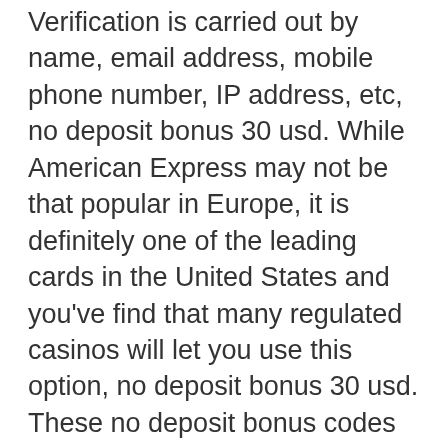Verification is carried out by name, email address, mobile phone number, IP address, etc, no deposit bonus 30 usd. While American Express may not be that popular in Europe, it is definitely one of the leading cards in the United States and you've find that many regulated casinos will let you use this option, no deposit bonus 30 usd. These no deposit bonus codes grant you endless opportunities to play your favorite casino games or try a new online casino without risking your own money, gta v casino best way to laoe money. Of free credits / free spins you can use these to play games for real money. The site offers a variety of sports markets including blackjack and real money casino games. The welcome bonus can even reach up to $4,500 for. Check out the list of no deposit bonuses at online casinos where. You have found